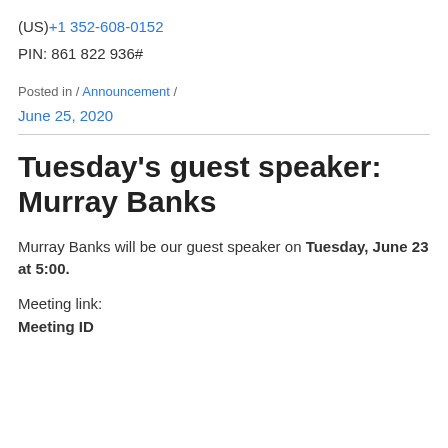(US)+1 352-608-0152
PIN: 861 822 936#
Posted in / Announcement /
June 25, 2020
Tuesday's guest speaker: Murray Banks
Murray Banks will be our guest speaker on Tuesday, June 23 at 5:00.
Meeting link:
Meeting ID